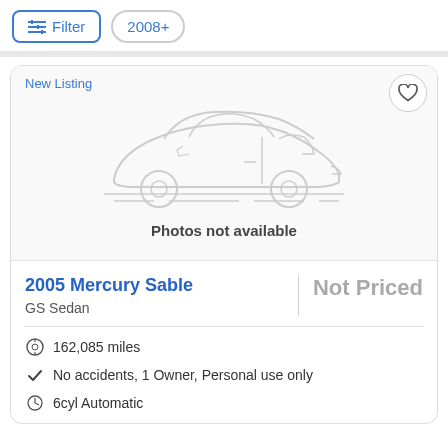Filter  2008+
[Figure (illustration): Car listing card with placeholder car silhouette image and 'Photos not available' text. Shows a gray line-art illustration of a sedan car.]
New Listing
Photos not available
2005 Mercury Sable
GS Sedan
Not Priced
162,085 miles
No accidents, 1 Owner, Personal use only
6cyl Automatic